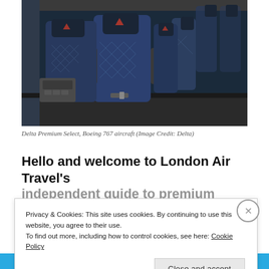[Figure (photo): Interior of an airplane cabin showing Delta Premium Select seats on a Boeing 767 aircraft. Seats are dark navy blue with quilted diamond pattern upholstery and black leather headrests with Delta logo. Multiple rows visible with wide armrests and in-seat entertainment controls.]
Delta Premium Select, Boeing 767 aircraft (Image Credit: Delta)
Hello and welcome to London Air Travel's
Privacy & Cookies: This site uses cookies. By continuing to use this website, you agree to their use.
To find out more, including how to control cookies, see here: Cookie Policy
Close and accept